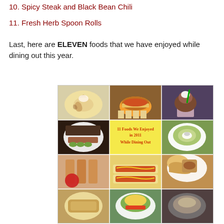10. Spicy Steak and Black Bean Chili
11. Fresh Herb Spoon Rolls
Last, here are ELEVEN foods that we have enjoyed while dining out this year.
[Figure (photo): A collage of 11 food photos arranged in a 3x4 grid, with a center yellow tile reading '11 Foods We Enjoyed in 2011 While Dining Out'. Food images include cinnamon roll, burger with fries, ice cream, BBQ plate, pickle chips, spring rolls, hot dogs, tacos/wraps, and other restaurant dishes.]